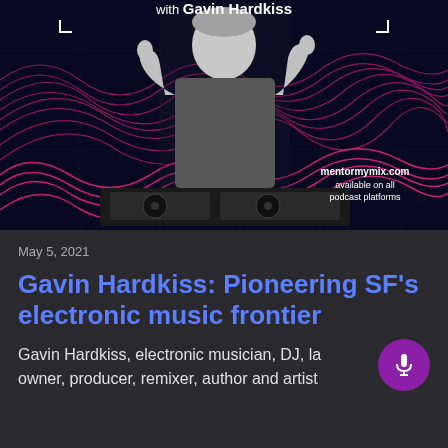[Figure (photo): Podcast promotional image: dark navy background with pink/magenta wave patterns. Man with beard giving thumbs up standing behind DJ equipment. Text 'with Gavin Hardkiss' at top and 'mentormymix.com available on all podcast platforms' at bottom right.]
May 5, 2021
Gavin Hardkiss: Pioneering SF's electronic music frontier
Gavin Hardkiss, electronic musician, DJ, la owner, producer, remixer, author and artist